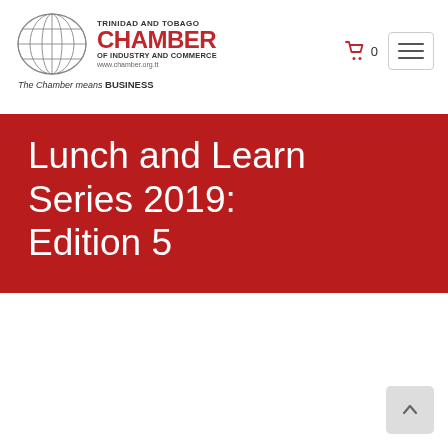[Figure (logo): Trinidad and Tobago Chamber of Industry and Commerce logo with globe graphic, red CHAMBER text, and tagline 'The Chamber means BUSINESS']
Lunch and Learn Series 2019: Edition 5